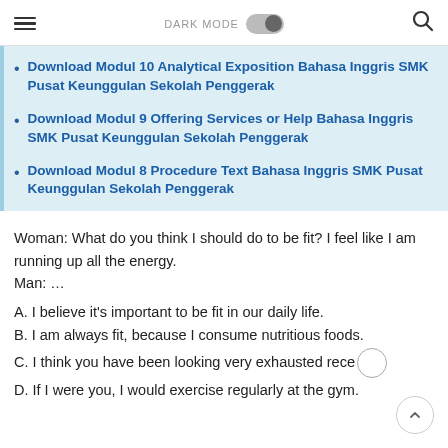DARK MODE [toggle] [search]
Download Modul 10 Analytical Exposition Bahasa Inggris SMK Pusat Keunggulan Sekolah Penggerak
Download Modul 9 Offering Services or Help Bahasa Inggris SMK Pusat Keunggulan Sekolah Penggerak
Download Modul 8 Procedure Text Bahasa Inggris SMK Pusat Keunggulan Sekolah Penggerak
Woman: What do you think I should do to be fit? I feel like I am running up all the energy.
Man: …
A. I believe it's important to be fit in our daily life.
B. I am always fit, because I consume nutritious foods.
C. I think you have been looking very exhausted rece
D. If I were you, I would exercise regularly at the gym.